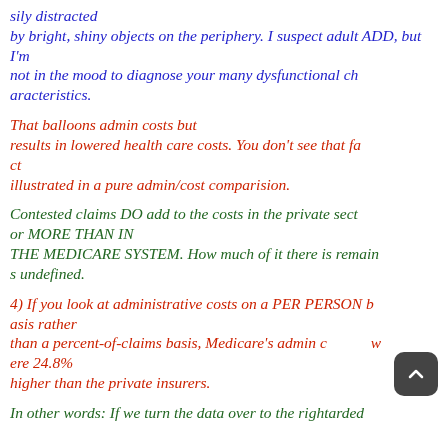sily distracted by bright, shiny objects on the periphery. I suspect adult ADD, but I'm not in the mood to diagnose your many dysfunctional characteristics.
That balloons admin costs but results in lowered health care costs. You don't see that fact illustrated in a pure admin/cost comparision.
Contested claims DO add to the costs in the private sector MORE THAN IN THE MEDICARE SYSTEM. How much of it there is remains undefined.
4) If you look at administrative costs on a PER PERSON basis rather than a percent-of-claims basis, Medicare's admin costs were 24.8% higher than the private insurers.
In other words: If we turn the data over to the rightarded